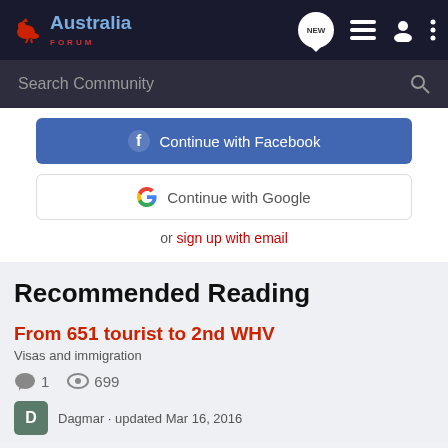Australia Forum
Search Community
Continue with Facebook
Continue with Google
or sign up with email
Recommended Reading
From 651 tourist to 2nd WHV
Visas and immigration
1   699
Dagmar · updated Mar 16, 2016